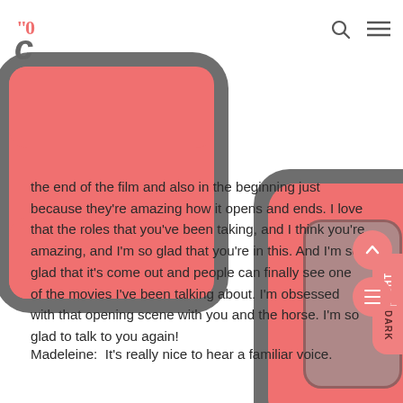[Figure (logo): Website logo with stylized 'C0' letters in pink/salmon and gray]
[Figure (illustration): Large decorative 'GO' letters in salmon/pink with dark gray outline overlaid behind the text content]
the end of the film and also in the beginning just because they're amazing how it opens and ends. I love that the roles that you've been taking, and I think you're amazing, and I'm so glad that you're in this. And I'm so glad that it's come out and people can finally see one of the movies I've been talking about. I'm obsessed with that opening scene with you and the horse. I'm so glad to talk to you again!
Madeleine:  It's really nice to hear a familiar voice.
Jennifer: You're amazing. This is such an incredible film, and I'm so happy that you're in it. And I hope somebody gives you a photo still of the beginning with you and the